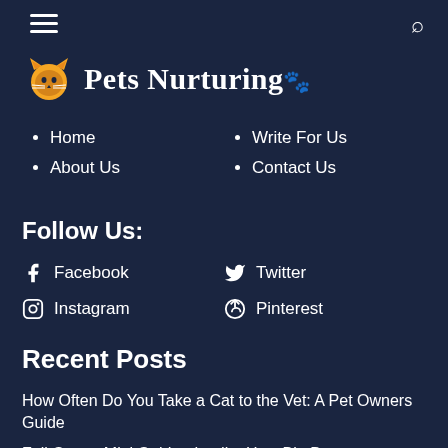[Figure (logo): Pets Nurturing logo with paw print icon and site name]
Home
About Us
Write For Us
Contact Us
Follow Us:
Facebook
Instagram
Twitter
Pinterest
Recent Posts
How Often Do You Take a Cat to the Vet: A Pet Owners Guide
Full Grown Mini Goldendoodle: How Big Do Goldendoodles Get?